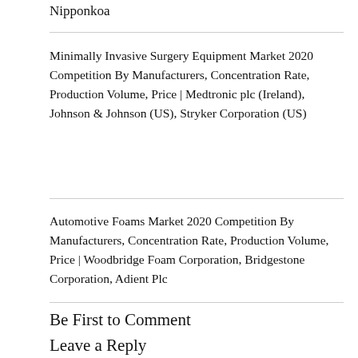Nipponkoa
Minimally Invasive Surgery Equipment Market 2020 Competition By Manufacturers, Concentration Rate, Production Volume, Price | Medtronic plc (Ireland), Johnson & Johnson (US), Stryker Corporation (US)
Automotive Foams Market 2020 Competition By Manufacturers, Concentration Rate, Production Volume, Price | Woodbridge Foam Corporation, Bridgestone Corporation, Adient Plc
Be First to Comment
Leave a Reply